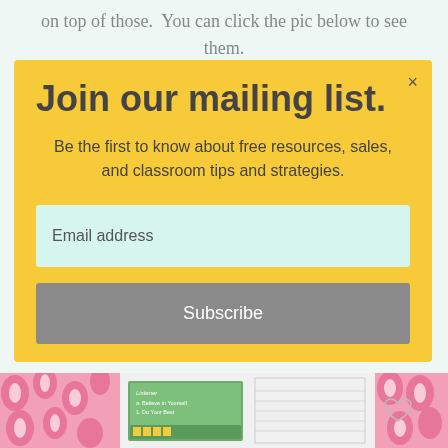on top of those. You can click the pic below to see them.
Join our mailing list.
Be the first to know about free resources, sales, and classroom tips and strategies.
Email address
Subscribe
[Figure (photo): Bottom strip showing educational materials with pink floral pattern background, a green notebook card with text 'Believe in Yourself, Do Your Best', lined paper, and additional worksheet materials]